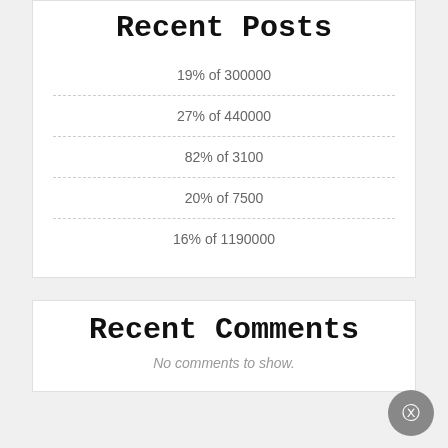Recent Posts
19% of 300000
27% of 440000
82% of 3100
20% of 7500
16% of 1190000
Recent Comments
No comments to show.